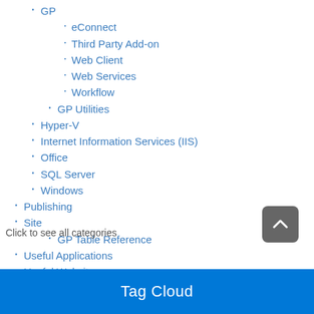GP
eConnect
Third Party Add-on
Web Client
Web Services
Workflow
GP Utilities
Hyper-V
Internet Information Services (IIS)
Office
SQL Server
Windows
Publishing
Site
GP Table Reference
Useful Applications
Useful Websites
Click to see all categories
Tag Cloud